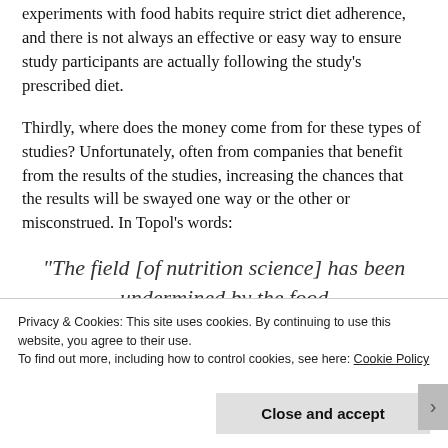experiments with food habits require strict diet adherence, and there is not always an effective or easy way to ensure study participants are actually following the study's prescribed diet.
Thirdly, where does the money come from for these types of studies? Unfortunately, often from companies that benefit from the results of the studies, increasing the chances that the results will be swayed one way or the other or misconstrued. In Topol's words:
“The field [of nutrition science] has been undermined by the food
Privacy & Cookies: This site uses cookies. By continuing to use this website, you agree to their use. To find out more, including how to control cookies, see here: Cookie Policy